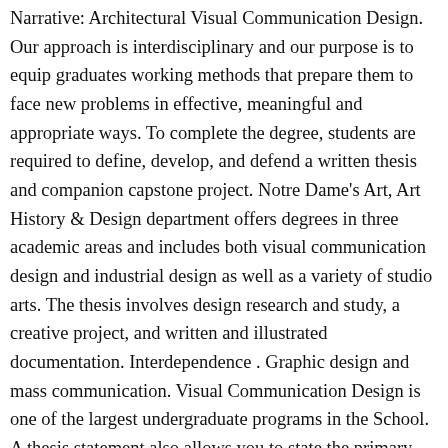Narrative: Architectural Visual Communication Design. Our approach is interdisciplinary and our purpose is to equip graduates working methods that prepare them to face new problems in effective, meaningful and appropriate ways. To complete the degree, students are required to define, develop, and defend a written thesis and companion capstone project. Notre Dame's Art, Art History & Design department offers degrees in three academic areas and includes both visual communication design and industrial design as well as a variety of studio arts. The thesis involves design research and study, a creative project, and written and illustrated documentation. Interdependence . Graphic design and mass communication. Visual Communication Design is one of the largest undergraduate programs in the School. A thesis statement also allows you to state the primary … Explore the thesis work of M.F.A. Hartford Art School VCD majors, class of 2020 projects. and M.F.A. Please feel free to read, comment, repost, etc. Des Visual